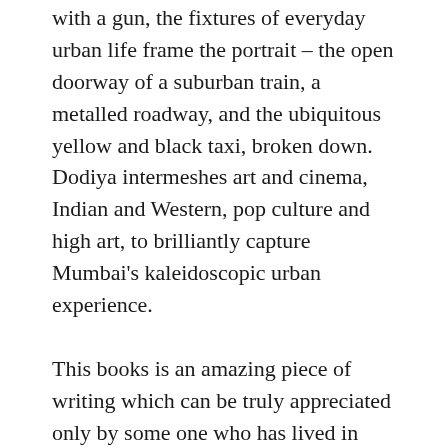with a gun, the fixtures of everyday urban life frame the portrait – the open doorway of a suburban train, a metalled roadway, and the ubiquitous yellow and black taxi, broken down. Dodiya intermeshes art and cinema, Indian and Western, pop culture and high art, to brilliantly capture Mumbai's kaleidoscopic urban experience.
This books is an amazing piece of writing which can be truly appreciated only by some one who has lived in Mumbai and before that Bombay. I have lived there during both phases and have first hand experience of many insights that Gyan Prakash brings into the city's history and present. It is a book that I will read again and most probably once again